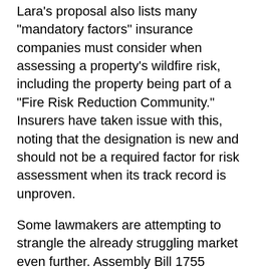Lara's proposal also lists many 'mandatory factors' insurance companies must consider when assessing a property's wildfire risk, including the property being part of a "Fire Risk Reduction Community." Insurers have taken issue with this, noting that the designation is new and should not be a required factor for risk assessment when its track record is unproven.
Some lawmakers are attempting to strangle the already struggling market even further. Assembly Bill 1755 mandates that insurance companies provide policies to all homeowners whose properties undergo certain mitigation efforts regardless of any other factors. It was introduced by Assemblyman Marc Levine, D-Marin County, in February and was re-referred to Commissioner Lara in March.
Couple ballooning regulation with increasing wildfire risk, and insurance companies' incentive to provide policies in California is waning dramatically. Wildfire losses cost